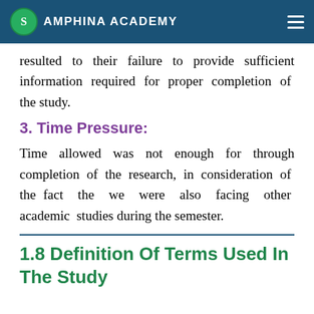Amphina Academy
resulted to their failure to provide sufficient information required for proper completion of the study.
3. Time Pressure:
Time allowed was not enough for through completion of the research, in consideration of the fact the we were also facing other academic studies during the semester.
1.8 Definition Of Terms Used In The Study